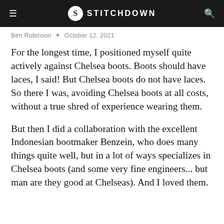≡  S STITCHDOWN  🔍
Ben Robinson  ✶  October 12, 2021
For the longest time, I positioned myself quite actively against Chelsea boots. Boots should have laces, I said! But Chelsea boots do not have laces. So there I was, avoiding Chelsea boots at all costs, without a true shred of experience wearing them.
But then I did a collaboration with the excellent Indonesian bootmaker Benzein, who does many things quite well, but in a lot of ways specializes in Chelsea boots (and some very fine engineers... but man are they good at Chelseas). And I loved them.